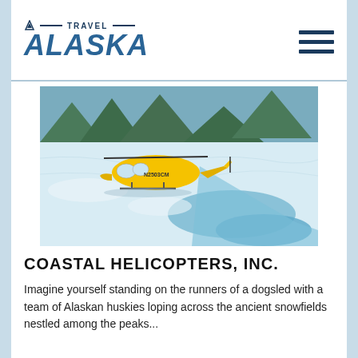[Figure (logo): Travel Alaska logo with mountain icon, horizontal lines, TRAVEL text, and large ALASKA wordmark in blue italic]
[Figure (photo): Yellow helicopter landed on a glacier with blue meltwater streams and snow/ice surroundings in Alaska]
COASTAL HELICOPTERS, INC.
Imagine yourself standing on the runners of a dogsled with a team of Alaskan huskies loping across the ancient snowfields nestled among the peaks...